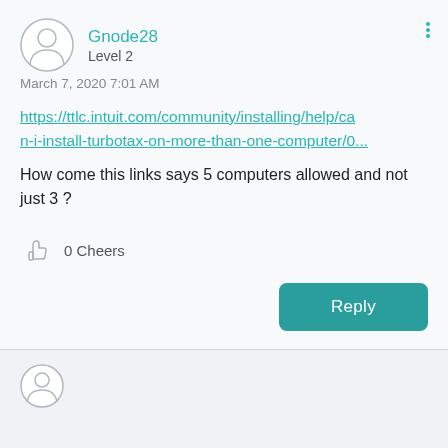Gnode28
Level 2
March 7, 2020 7:01 AM
https://ttlc.intuit.com/community/installing/help/can-i-install-turbotax-on-more-than-one-computer/0...
How come this links says 5 computers allowed and not just 3 ?
0 Cheers
Reply